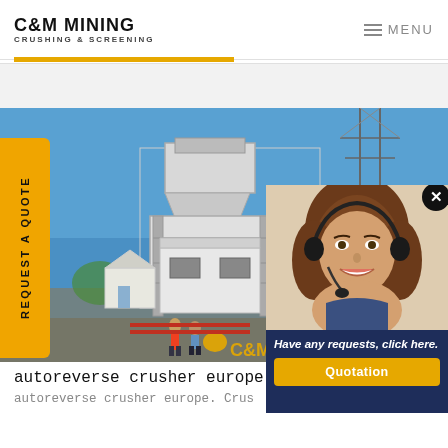C&M MINING CRUSHING & SCREENING | MENU
[Figure (photo): Mining crushing and screening equipment – large white multi-level industrial crusher structure outdoors against blue sky, with workers near the base and power lines in background]
REQUEST A QUOTE
[Figure (photo): Customer service representative – smiling woman wearing headset/microphone]
Have any requests, click here.
Quotation
autoreverse crusher europe –
autoreverse crusher europe. Crus